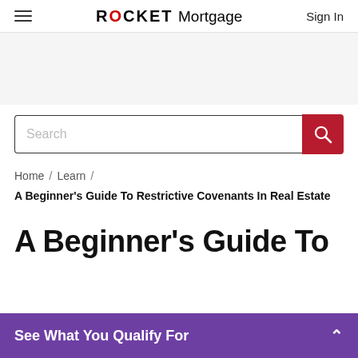ROCKET Mortgage  Sign In
Search
Home / Learn /
A Beginner's Guide To Restrictive Covenants In Real Estate
A Beginner's Guide To
See What You Qualify For